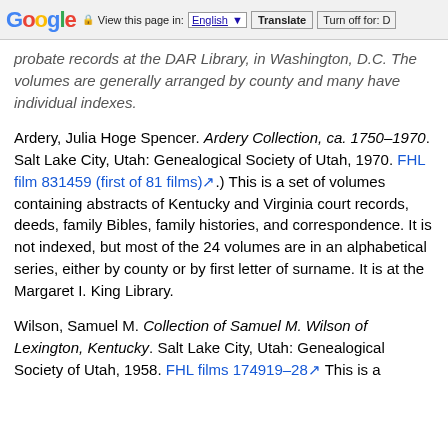Google  View this page in: English [▼]  Translate  Turn off for: D
probate records at the DAR Library, in Washington, D.C. The volumes are generally arranged by county and many have individual indexes.
Ardery, Julia Hoge Spencer. Ardery Collection, ca. 1750–1970. Salt Lake City, Utah: Genealogical Society of Utah, 1970. FHL film 831459 (first of 81 films) ↗.) This is a set of volumes containing abstracts of Kentucky and Virginia court records, deeds, family Bibles, family histories, and correspondence. It is not indexed, but most of the 24 volumes are in an alphabetical series, either by county or by first letter of surname. It is at the Margaret I. King Library.
Wilson, Samuel M. Collection of Samuel M. Wilson of Lexington, Kentucky. Salt Lake City, Utah: Genealogical Society of Utah, 1958. FHL films 174919–28 ↗ This is a